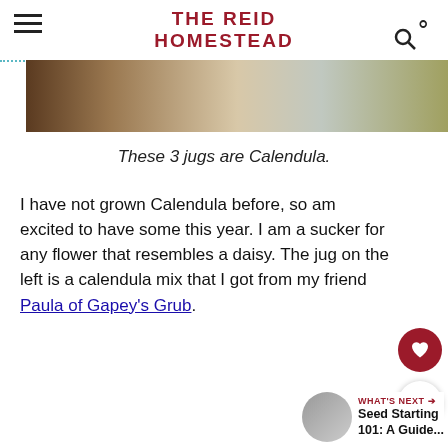THE REID HOMESTEAD
[Figure (photo): Partial view of jugs on a wooden surface, cropped at top of page]
These 3 jugs are Calendula.
I have not grown Calendula before, so am excited to have some this year. I am a sucker for any flower that resembles a daisy. The jug on the left is a calendula mix that I got from my friend Paula of Gapey's Grub.